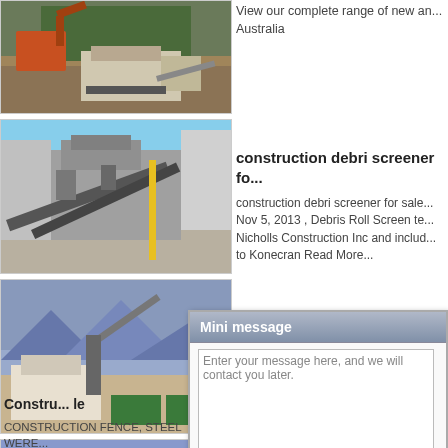[Figure (photo): Construction site with excavator and rock crushing machinery]
View our complete range of new an... Australia
[Figure (photo): Large industrial crushing/screening plant machinery]
construction debri screener fo...
construction debri screener for sale... Nov 5, 2013 , Debris Roll Screen te... Nicholls Construction Inc and includ... to Konecran Read More...
[Figure (photo): Outdoor industrial processing plant with conveyor belts and equipment]
POWER... re...
Browse o... us... at Machin... in... POWERC... IN...
[Figure (photo): Construction site with machinery and mountains in background]
Constru... le
CONSTRUCTION FENCE, STEEL WERE...
[Figure (screenshot): Mini message dialog popup with textarea for message, email and phone fields, and Email Us / Send buttons]